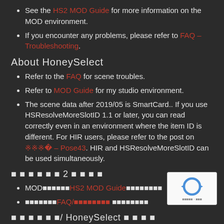See the HS2 MOD Guide for more information on the MOD environment.
If you encounter any problems, please refer to FAQ – Troubleshooting.
About HoneySelect
Refer to the FAQ for scene troubles.
Refer to MOD Guide for my studio environment.
The scene data after 2019/05 is SmartCard.. If you use HSResolveMoreSlotID 1.1 or later, you can read correctly even in an environment where the item ID is different. For HIR users, please refer to the post on ????– Pose43. HIR and HSResolveMoreSlotID can be used simultaneously.
????????2????
MOD???????HS2 MOD Guide??????????
????????FAQ/?????????? ?????????
??????/HoneySelect????
????????FAQ?????????